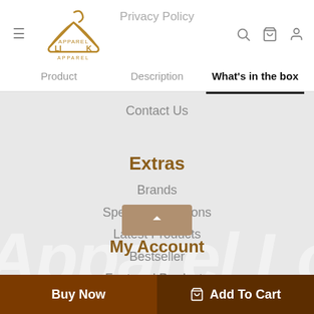[Figure (screenshot): E-commerce website screenshot showing Apparel Look store navigation with logo, header tabs (Product, Description, What's in the box), menu navigation links including Contact Us, Extras section with Brands/Special Promotions/Latest Products/Bestseller/Featured Products, My Account section, and bottom Buy Now and Add To Cart buttons.]
Privacy Policy
Product | Description | What's in the box
Contact Us
Extras
Brands
Special Promotions
Latest Products
Bestseller
Featured Products
My Account
Order Account | Order History
Buy Now
Add To Cart